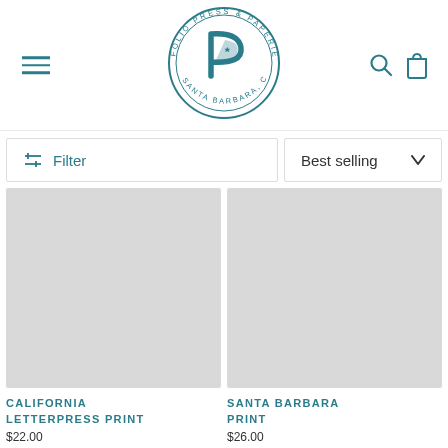[Figure (logo): Folio Press & Paperie circular logo with a stylized P and text around the circle reading FOLIO PRESS & PAPERIE SANTA BARBARA, CA in teal]
Filter
Best selling
[Figure (photo): Product image placeholder for California Letterpress Print (grey rectangle)]
CALIFORNIA LETTERPRESS PRINT
$22.00
[Figure (photo): Product image placeholder for Santa Barbara Print (grey rectangle)]
SANTA BARBARA PRINT
$26.00